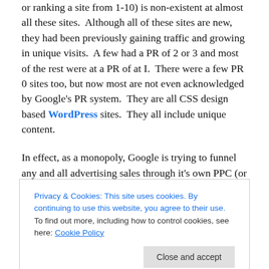or ranking a site from 1-10) is non-existent at almost all these sites.  Although all of these sites are new, they had been previously gaining traffic and growing in unique visits.  A few had a PR of 2 or 3 and most of the rest were at a PR of at I.  There were a few PR 0 sites too, but now most are not even acknowledged by Google's PR system.  They are all CSS design based WordPress sites.  They all include unique content.
In effect, as a monopoly, Google is trying to funnel any and all advertising sales through it's own PPC (or Pay-Per-
Privacy & Cookies: This site uses cookies. By continuing to use this website, you agree to their use.
To find out more, including how to control cookies, see here: Cookie Policy
The stunning idiotic result from an otherwise very smart